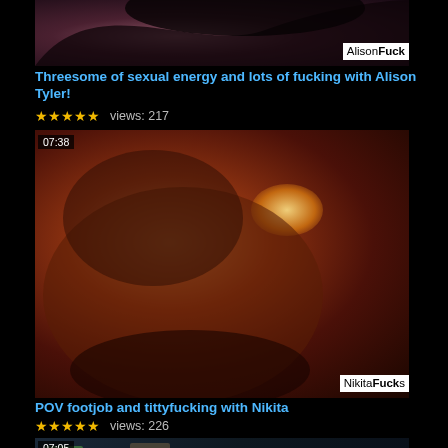[Figure (screenshot): Video thumbnail for Alison Tyler threesome video, dark photo with watermark 'AlisonFuck' in bottom right, timestamp 07:38 not shown on this thumb]
Threesome of sexual energy and lots of fucking with Alison Tyler!
views: 217
[Figure (screenshot): Video thumbnail 07:38 - close-up of blonde person against warm orange/amber light background, watermark 'NikitaFucks' bottom right]
POV footjob and tittyfucking with Nikita
views: 226
[Figure (screenshot): Video thumbnail 07:05 - partial view of person with cards/images on dark surface]